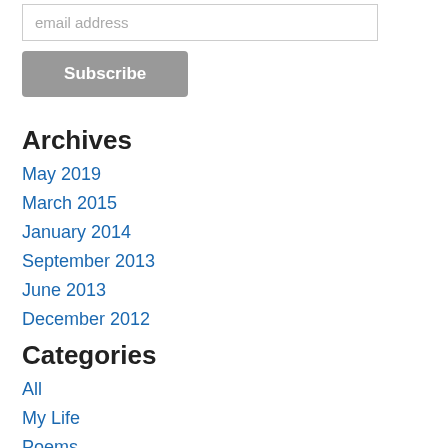email address
Subscribe
Archives
May 2019
March 2015
January 2014
September 2013
June 2013
December 2012
Categories
All
My Life
Poems
Version: Mobile | Web
Created with Weebly  Get the App